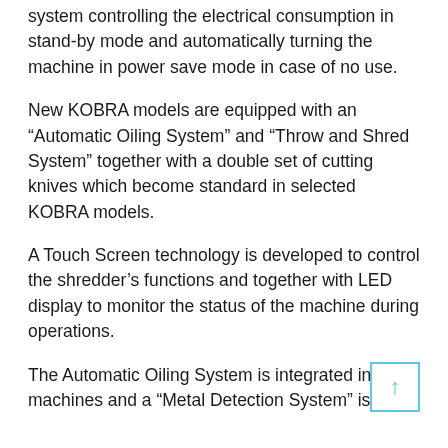system controlling the electrical consumption in stand-by mode and automatically turning the machine in power save mode in case of no use.
New KOBRA models are equipped with an “Automatic Oiling System” and “Throw and Shred System” together with a double set of cutting knives which become standard in selected KOBRA models.
A Touch Screen technology is developed to control the shredder’s functions and together with LED display to monitor the status of the machine during operations.
The Automatic Oiling System is integrated into the machines and a “Metal Detection System” is an